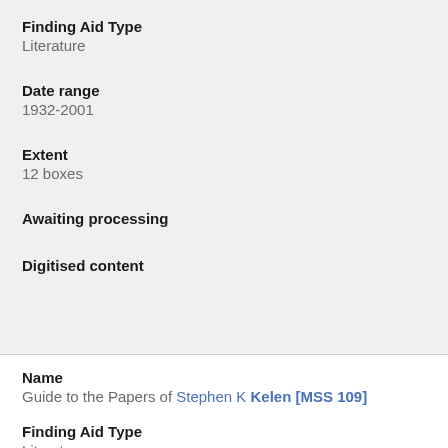Finding Aid Type
Literature
Date range
1932-2001
Extent
12 boxes
Awaiting processing
Digitised content
Name
Guide to the Papers of Stephen K Kelen [MSS 109]
Finding Aid Type
Literature